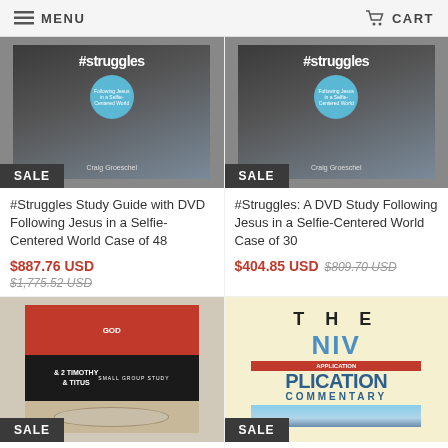MENU  CART
[Figure (photo): #Struggles book cover - Study Guide with DVD]
#Struggles Study Guide with DVD Following Jesus in a Selfie-Centered World Case of 48
$887.76 USD
$1,775.52 USD
[Figure (photo): #Struggles A DVD Study book cover]
#Struggles: A DVD Study Following Jesus in a Selfie-Centered World Case of 30
$404.85 USD $809.70 USD
[Figure (photo): Timothy and Titus Small Group Study book cover with SALE badge]
[Figure (photo): The NIV Application Commentary book cover with SALE badge]